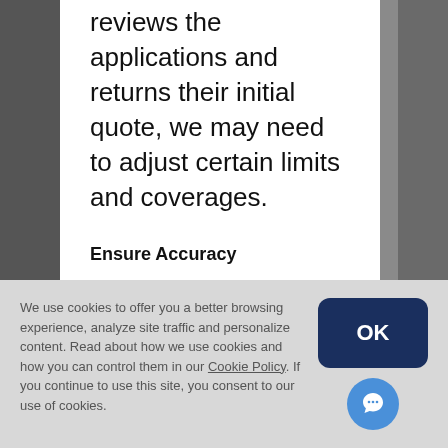reviews the applications and returns their initial quote, we may need to adjust certain limits and coverages.
Ensure Accuracy
Once the quote is agreed upon and bound, the insurance company will
We use cookies to offer you a better browsing experience, analyze site traffic and personalize content. Read about how we use cookies and how you can control them in our Cookie Policy. If you continue to use this site, you consent to our use of cookies.